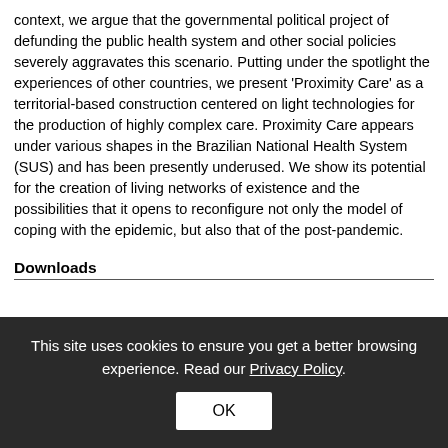context, we argue that the governmental political project of defunding the public health system and other social policies severely aggravates this scenario. Putting under the spotlight the experiences of other countries, we present 'Proximity Care' as a territorial-based construction centered on light technologies for the production of highly complex care. Proximity Care appears under various shapes in the Brazilian National Health System (SUS) and has been presently underused. We show its potential for the creation of living networks of existence and the possibilities that it opens to reconfigure not only the model of coping with the epidemic, but also that of the post-pandemic.
Downloads
This site uses cookies to ensure you get a better browsing experience. Read our Privacy Policy.